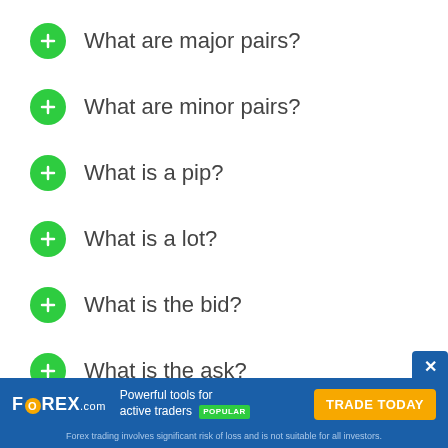What are major pairs?
What are minor pairs?
What is a pip?
What is a lot?
What is the bid?
What is the ask?
FOREX.com — Powerful tools for active traders POPULAR — TRADE TODAY — Forex trading involves significant risk of loss and is not suitable for all investors.